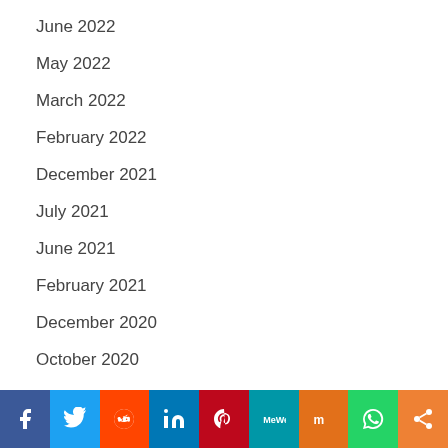June 2022
May 2022
March 2022
February 2022
December 2021
July 2021
June 2021
February 2021
December 2020
October 2020
June 2020
May 2020
Social share bar: Facebook, Twitter, Reddit, LinkedIn, Pinterest, MeWe, Mix, WhatsApp, Share